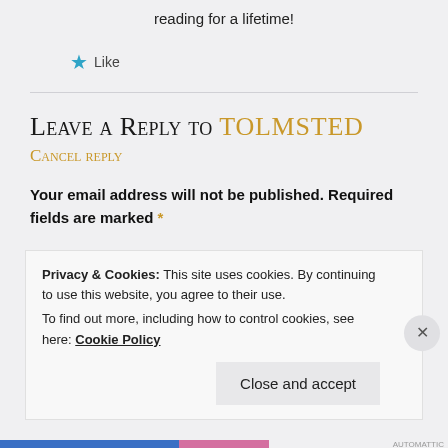reading for a lifetime!
★ Like
Leave a Reply to tolmsted
Cancel reply
Your email address will not be published. Required fields are marked *
Comment *
Privacy & Cookies: This site uses cookies. By continuing to use this website, you agree to their use.
To find out more, including how to control cookies, see here: Cookie Policy
Close and accept